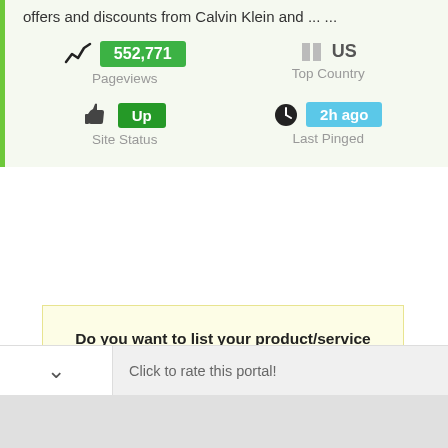offers and discounts from Calvin Klein and ... ...
552,771 Pageviews
US Top Country
Up Site Status
2h ago Last Pinged
Do you want to list your product/service website here ? CLICK HERE
Click to rate this portal!